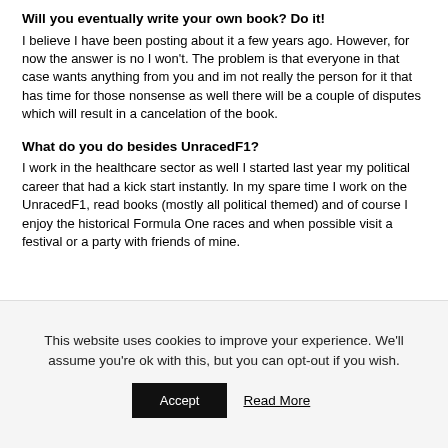Will you eventually write your own book? Do it!
I believe I have been posting about it a few years ago. However, for now the answer is no I won't. The problem is that everyone in that case wants anything from you and im not really the person for it that has time for those nonsense as well there will be a couple of disputes which will result in a cancelation of the book.
What do you do besides UnracedF1?
I work in the healthcare sector as well I started last year my political career that had a kick start instantly. In my spare time I work on the UnracedF1, read books (mostly all political themed) and of course I enjoy the historical Formula One races and when possible visit a festival or a party with friends of mine.
This website uses cookies to improve your experience. We'll assume you're ok with this, but you can opt-out if you wish.